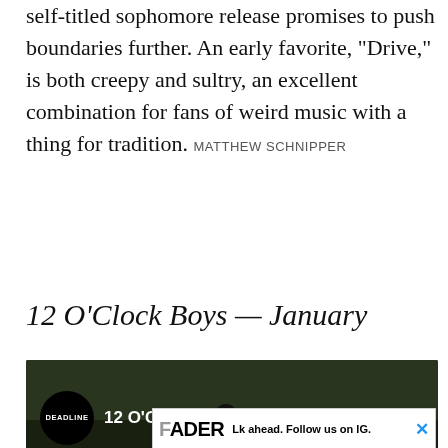self-titled sophomore release promises to push boundaries further. An early favorite, "Drive," is both creepy and sultry, an excellent combination for fans of weird music with a thing for tradition. MATTHEW SCHNIPPER
12 O'Clock Boys — January
[Figure (screenshot): YouTube-style video embed showing '12 O'Clock Boys - Exclusive Trailer' with Deadline logo badge on dark background with outdoor scene]